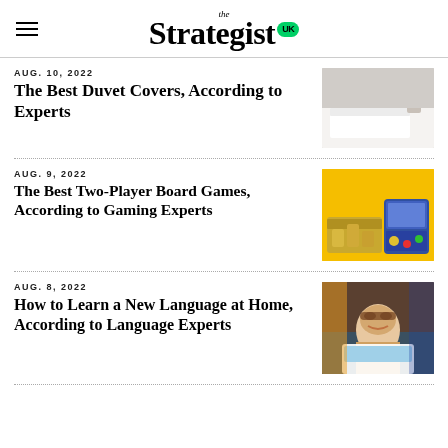the Strategist UK
AUG. 10, 2022
The Best Duvet Covers, According to Experts
[Figure (photo): A neatly made bed with white duvet cover, plant on side table, grey wall background.]
AUG. 9, 2022
The Best Two-Player Board Games, According to Gaming Experts
[Figure (photo): Board game pieces and a blue board game box on a bright yellow background.]
AUG. 8, 2022
How to Learn a New Language at Home, According to Language Experts
[Figure (photo): Person with glasses smiling at a laptop screen in a warmly lit room.]